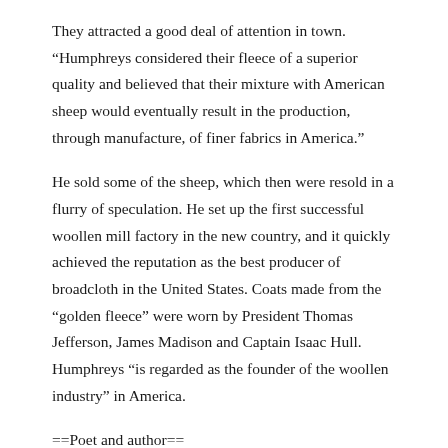They attracted a good deal of attention in town. “Humphreys considered their fleece of a superior quality and believed that their mixture with American sheep would eventually result in the production, through manufacture, of finer fabrics in America.”
He sold some of the sheep, which then were resold in a flurry of speculation. He set up the first successful woollen mill factory in the new country, and it quickly achieved the reputation as the best producer of broadcloth in the United States. Coats made from the “golden fleece” were worn by President Thomas Jefferson, James Madison and Captain Isaac Hull. Humphreys “is regarded as the founder of the woollen industry” in America.
==Poet and author==